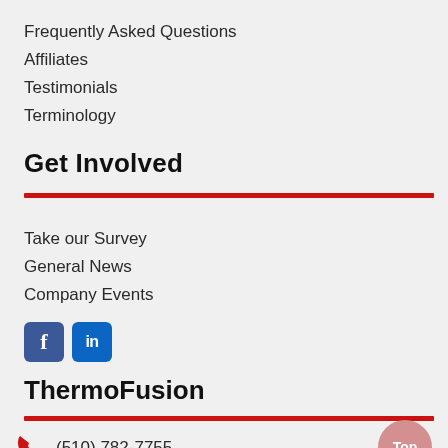Frequently Asked Questions
Affiliates
Testimonials
Terminology
Get Involved
Take our Survey
General News
Company Events
[Figure (logo): Facebook and LinkedIn social media icons]
ThermoFusion
(510) 782-7755
(510) 782-4197
info@thermo-fusion.com